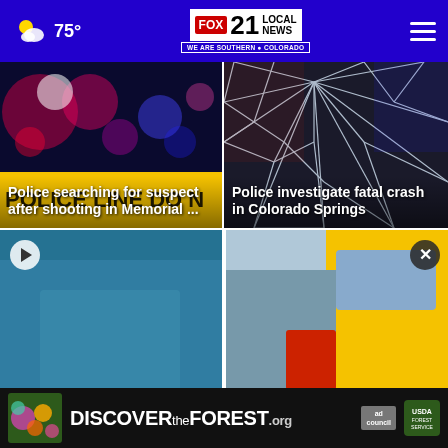FOX 21 LOCAL NEWS — WE ARE SOUTHERN COLORADO | 75°
[Figure (photo): Police crime scene with bokeh police lights and yellow police line tape reading POLICE LINE DO NOT CROSS]
Police searching for suspect after shooting in Memorial ...
[Figure (photo): Shattered windshield glass close-up with red and blue emergency lights reflected]
Police investigate fatal crash in Colorado Springs
[Figure (photo): Video thumbnail showing person with play button overlay]
[Figure (photo): School bus partial view with person and red items, with X close button]
[Figure (advertisement): DISCOVERtheForest.org ad banner with floral/nature imagery, Ad Council and USDA Forest Service logos]